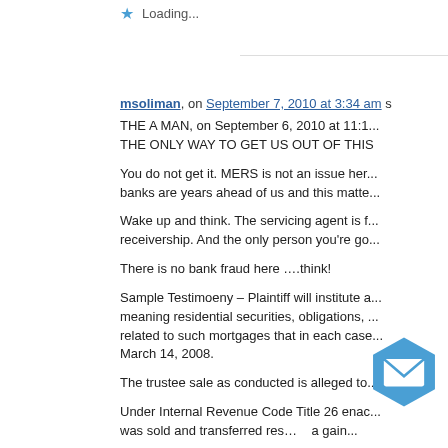Loading...
msoliman, on September 7, 2010 at 3:34 am s
THE A MAN, on September 6, 2010 at 11:1... THE ONLY WAY TO GET US OUT OF THIS
You do not get it. MERS is not an issue here... banks are years ahead of us and this matte...
Wake up and think. The servicing agent is f... receivership. And the only person you're go...
There is no bank fraud here ….think!
Sample Testimoeny – Plaintiff will institute a... meaning residential securities, obligations, ... related to such mortgages that in each case... March 14, 2008.
The trustee sale as conducted is alleged to...
Under Internal Revenue Code Title 26 enac... was sold and transferred res... a gain...
M.Soliman
expert.witness@live.com
Loading...